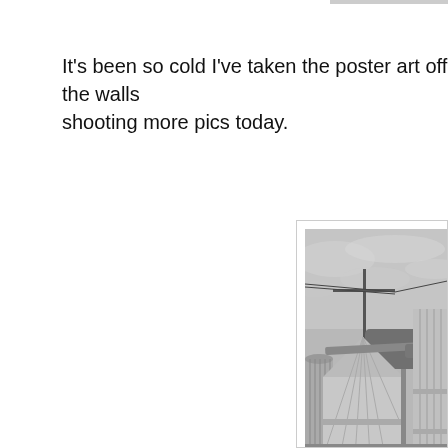It's been so cold I've taken the poster art off the walls shooting more pics today.
[Figure (photo): Black and white photograph of industrial grain silos and storage tanks with a utility pole and power lines against a cloudy sky. Large cylindrical metal silos dominate the foreground and right side, with trees visible in the background.]